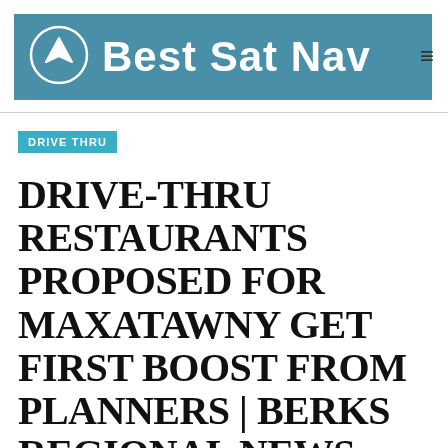Best Sat Nav
DRIVE THRU
DRIVE-THRU RESTAURANTS PROPOSED FOR MAXATAWNY GET FIRST BOOST FROM PLANNERS | BERKS REGIONAL NEWS